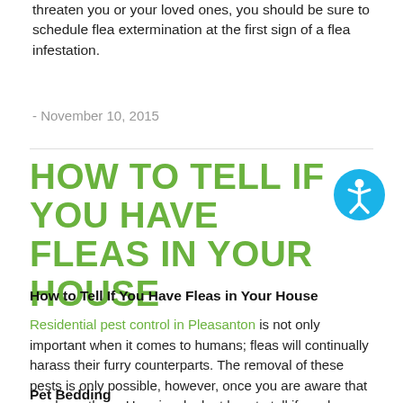threaten you or your loved ones, you should be sure to schedule flea extermination at the first sign of a flea infestation.
- November 10, 2015
HOW TO TELL IF YOU HAVE FLEAS IN YOUR HOUSE
How to Tell If You Have Fleas in Your House
Residential pest control in Pleasanton is not only important when it comes to humans; fleas will continually harass their furry counterparts. The removal of these pests is only possible, however, once you are aware that you have them. Here is a look at how to tell if you have fleas in your house.
Pet Bedding